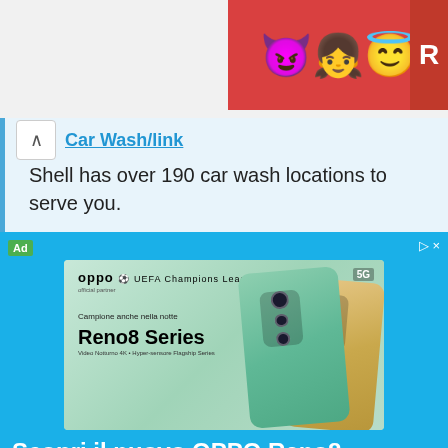[Figure (illustration): Top banner with emoji characters (devil, person, angel) on red/orange background with partial letter R]
Car Wash/link
Shell has over 190 car wash locations to serve you.
[Figure (screenshot): Advertisement for OPPO Reno8 Series showing two smartphones (green and gold) with camera modules visible. OPPO logo with Champions League branding. Text: Campione anche nella notte, Reno8 Series, 5G, Scopri le promo button.]
Scopri il nuovo OPPO Reno8
Caratteristiche Premium Veloce, Fluido & Elegante
Lancio OPPO Reno8
Apri